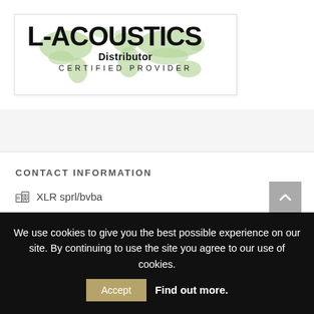[Figure (logo): L-ACOUSTICS Distributor Certified Provider logo with world map background in green]
CONTACT INFORMATION
XLR sprl/bvba
Rue J. Bruyndonckxstraat 72
1780 Wemmel
We use cookies to give you the best possible experience on our site. By continuing to use the site you agree to our use of cookies.
Accept   Find out more.